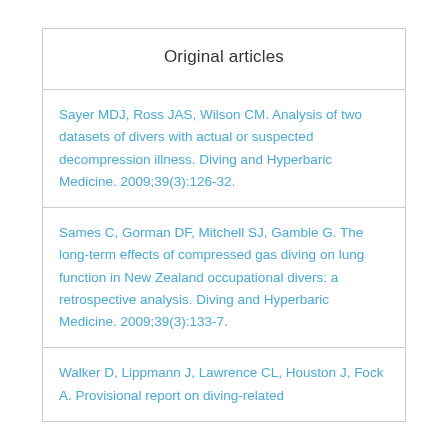Original articles
Sayer MDJ, Ross JAS, Wilson CM. Analysis of two datasets of divers with actual or suspected decompression illness. Diving and Hyperbaric Medicine. 2009;39(3):126-32.
Sames C, Gorman DF, Mitchell SJ, Gamble G. The long-term effects of compressed gas diving on lung function in New Zealand occupational divers: a retrospective analysis. Diving and Hyperbaric Medicine. 2009;39(3):133-7.
Walker D, Lippmann J, Lawrence CL, Houston J, Fock A. Provisional report on diving-related